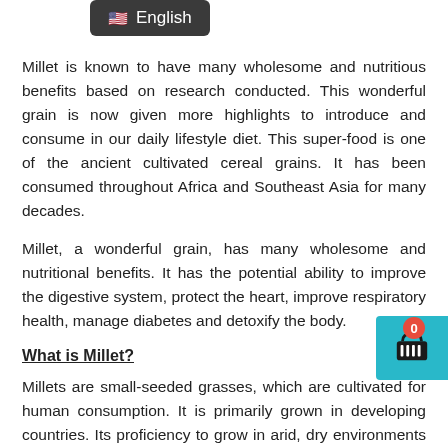[Figure (other): English language selector button with US flag icon on dark background]
Millet is known to have many wholesome and nutritious benefits based on research conducted. This wonderful grain is now given more highlights to introduce and consume in our daily lifestyle diet. This super-food is one of the ancient cultivated cereal grains. It has been consumed throughout Africa and Southeast Asia for many decades.
Millet, a wonderful grain, has many wholesome and nutritional benefits. It has the potential ability to improve the digestive system, protect the heart, improve respiratory health, manage diabetes and detoxify the body.
What is Millet?
Millets are small-seeded grasses, which are cultivated for human consumption. It is primarily grown in developing countries. Its proficiency to grow in arid, dry environments and relatively harsh weather probably makes it a versatile crop.
Like other grains, millet is a promising source of fibre and carbohydrates. It is also a nice source of vitamins, nutrients, organic compounds and minerals that can improve human